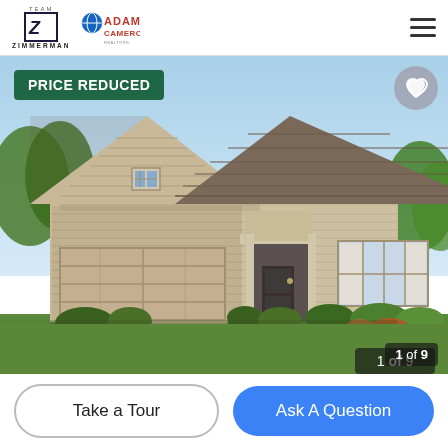Team Zimmerman / Adams Cameron
[Figure (photo): Exterior rendering of a single-story craftsman-style home with beige siding, two-car garage, brown shingle roof, front porch, and landscaping. Sky is light blue. Badge shows PRICE REDUCED in green. Counter shows 1 of 9.]
PRICE REDUCED
1 of 9
Take a Tour
Ask A Question